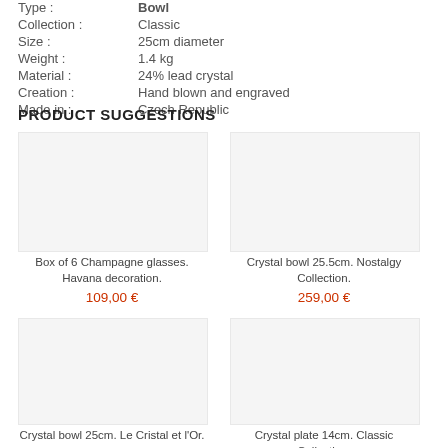| Type : | Bowl |
| Collection : | Classic |
| Size : | 25cm diameter |
| Weight : | 1.4 kg |
| Material : | 24% lead crystal |
| Creation : | Hand blown and engraved |
| Made in : | Czech Republic |
PRODUCT SUGGESTIONS
Box of 6 Champagne glasses. Havana decoration.
109,00 €
Crystal bowl 25.5cm. Nostalgy Collection.
259,00 €
Crystal bowl 25cm. Le Cristal et l'Or.
Crystal plate 14cm. Classic Collection.